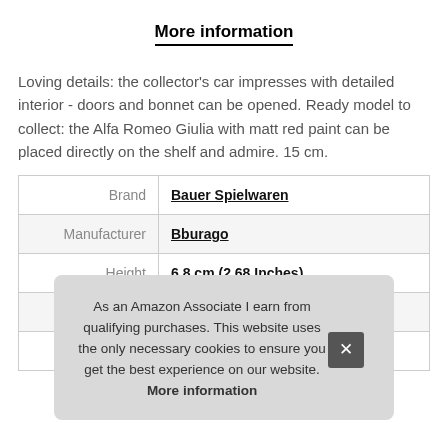More information
Loving details: the collector's car impresses with detailed interior - doors and bonnet can be opened. Ready model to collect: the Alfa Romeo Giulia with matt red paint can be placed directly on the shelf and admire. 15 cm.
|  |  |
| --- | --- |
| Brand | Bauer Spielwaren |
| Manufacturer | Bburago |
| Height | 6.8 cm (2.68 Inches) |
| P |  |
| Model | 1002 15001 |
As an Amazon Associate I earn from qualifying purchases. This website uses the only necessary cookies to ensure you get the best experience on our website. More information